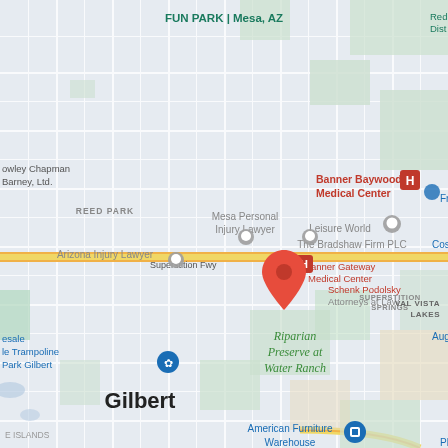[Figure (map): Google Maps screenshot showing Mesa/Gilbert, AZ area centered on Schenk Podolsky Attorneys at Law on Superstition Fwy. Visible landmarks include Banner Baywood Medical Center (northeast), Banner Gateway Medical Center (east), Mesa Personal Injury Lawyer, Arizona Injury Lawyer, Leisure World, The Bradshaw Firm PLC, Val Vista Lakes, Riparian Preserve at Water Ranch, American Furniture Warehouse, Fun Park Mesa AZ (north), Reed Park, Superstition Springs area, Gilbert (southwest), and various roads in a grid pattern.]